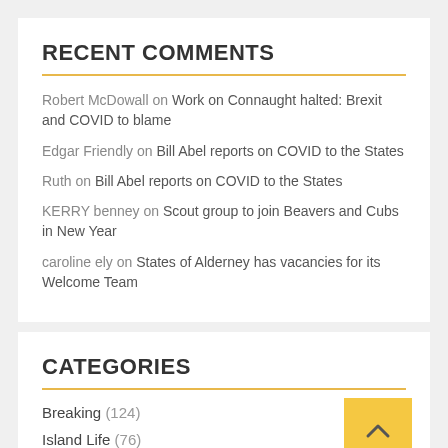RECENT COMMENTS
Robert McDowall on Work on Connaught halted: Brexit and COVID to blame
Edgar Friendly on Bill Abel reports on COVID to the States
Ruth on Bill Abel reports on COVID to the States
KERRY benney on Scout group to join Beavers and Cubs in New Year
caroline ely on States of Alderney has vacancies for its Welcome Team
CATEGORIES
Breaking (124)
Island Life (76)
History (1)